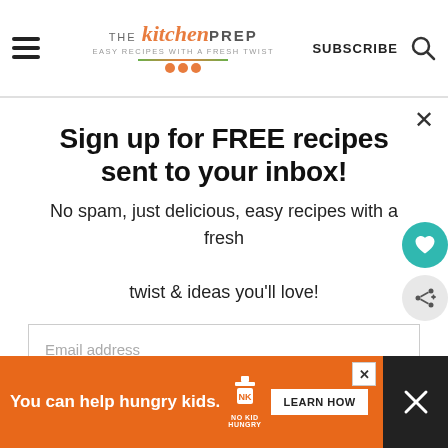[Figure (logo): The Kitchen Prep blog logo with orange script and green leaf divider]
SUBSCRIBE
×
Sign up for FREE recipes sent to your inbox!
No spam, just delicious, easy recipes with a fresh twist & ideas you'll love!
Email address
Subscribe
You can help hungry kids.
LEARN HOW